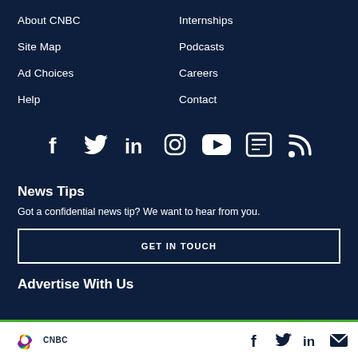About CNBC
Site Map
Ad Choices
Help
Internships
Podcasts
Careers
Contact
[Figure (infographic): Social media icons row: Facebook, Twitter, LinkedIn, Instagram, YouTube, Apple News, RSS]
News Tips
Got a confidential news tip? We want to hear from you.
GET IN TOUCH
Advertise With Us
[Figure (logo): CNBC peacock logo with CNBC text and social icons (Facebook, Twitter, LinkedIn, envelope) on white bottom bar]